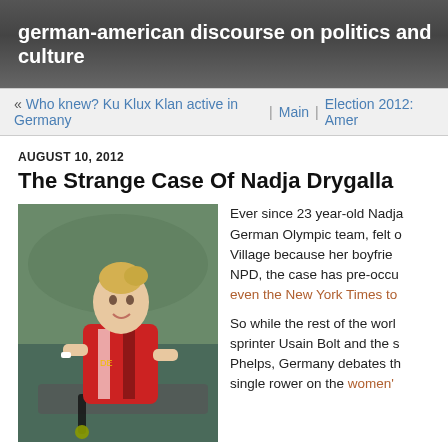german-american discourse on politics and culture
« Who knew? Ku Klux Klan active in Germany | Main | Election 2012: Amer
AUGUST 10, 2012
The Strange Case Of Nadja Drygalla
[Figure (photo): Photo of Nadja Drygalla rowing, wearing a red and white German team uniform, with a determined expression, in a rowing boat.]
Ever since 23 year-old Nadja German Olympic team, felt o Village because her boyfrie NPD, the case has pre-occu even the New York Times to So while the rest of the wor sprinter Usain Bolt and the s Phelps, Germany debates th single rower on the women' even make the finals. The case is making "big waves," as Inter Friedrich put it on Monday. A parliamentary committee will discu a hearing next month, according to Dagmar Freitag, the sports